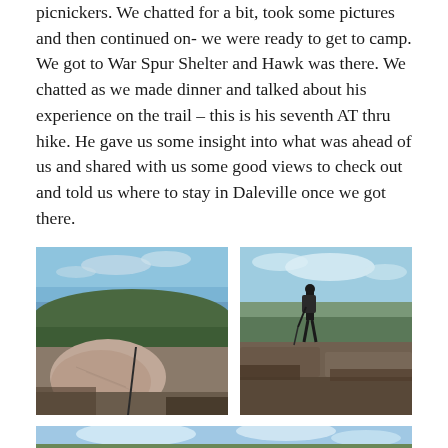picnickers. We chatted for a bit, took some pictures and then continued on- we were ready to get to camp. We got to War Spur Shelter and Hawk was there. We chatted as we made dinner and talked about his experience on the trail – this is his seventh AT thru hike. He gave us some insight into what was ahead of us and shared with us some good views to check out and told us where to stay in Daleville once we got there.
[Figure (photo): Panoramic view from rocky outcrop on Appalachian Trail, showing large pink granite rock in foreground, with wide forested mountain valley view and blue sky with scattered clouds]
[Figure (photo): Hiker with large backpack and trekking pole standing on rocky overlook on the Appalachian Trail, with expansive forested mountain views under blue sky]
[Figure (photo): Wide panoramic photo of mountain ridgeline view with blue sky and wispy clouds, bare winter trees visible along ridge]